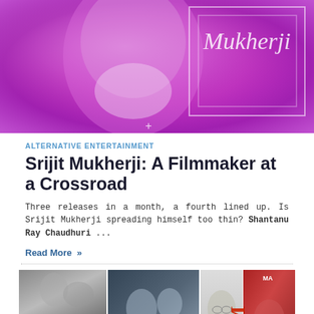[Figure (photo): Purple/magenta banner image with a face silhouette and cursive text reading 'Mukherji' overlaid with decorative white rectangular borders]
ALTERNATIVE ENTERTAINMENT
Srijit Mukherji: A Filmmaker at a Crossroad
Three releases in a month, a fourth lined up. Is Srijit Mukherji spreading himself too thin? Shantanu Ray Chaudhuri ...
Read More »
[Figure (photo): Collage of movie poster images including black-and-white film stills, a color poster labeled Bandhan, a central portrait in sepia, and red-toned poster with text NOM and MA]